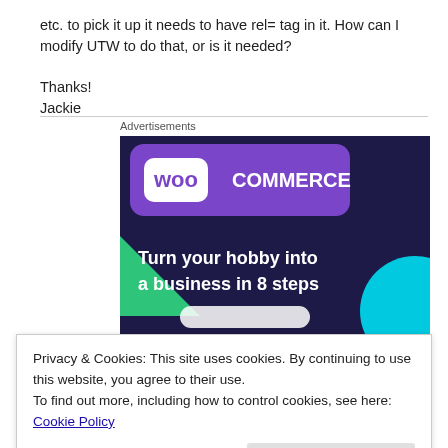etc. to pick it up it needs to have rel= tag in it. How can I modify UTW to do that, or is it needed?
Thanks!
Jackie
Advertisements
[Figure (illustration): WooCommerce advertisement banner showing logo and text 'Turn your hobby into a business in 8 steps' on dark purple background with green and cyan geometric shapes]
Privacy & Cookies: This site uses cookies. By continuing to use this website, you agree to their use.
To find out more, including how to control cookies, see here: Cookie Policy
Close and accept